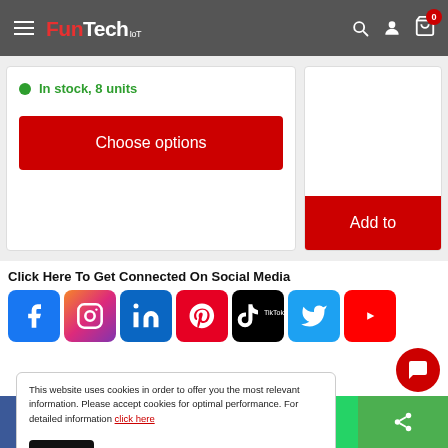FunTech IoT — header navigation with logo, search, account, and cart icons
In stock, 8 units
Choose options
Add to
Click Here To Get Connected On Social Media
[Figure (infographic): Row of social media icons: Facebook, Instagram, LinkedIn, Pinterest, TikTok, Twitter, YouTube]
This website uses cookies in order to offer you the most relevant information. Please accept cookies for optimal performance. For detailed information click here
Accept
Social share bar: Facebook, Twitter, Messenger, WhatsApp, Share